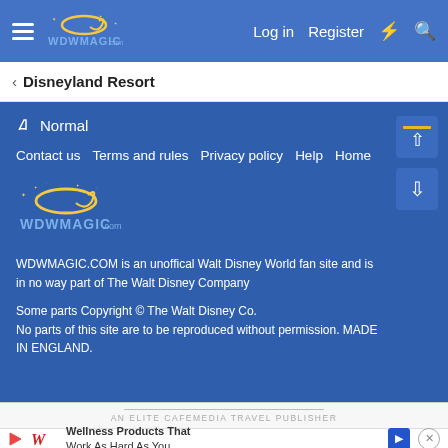WDWMAGIC.COM header with Log in, Register, search icons
< Disneyland Resort
Normal
Contact us   Terms and rules   Privacy policy   Help   Home
[Figure (logo): WDWMagic.com logo with golden oval and stars, blue stylized text]
WDWMAGIC.COM is an unoffical Walt Disney World fan site and is in no way part of The Walt Disney Company
Some parts Copyright © The Walt Disney Co.
No parts of this site are to be reproduced without permission. MADE IN ENGLAND.
AN ELITE CAFEMEDIA TRAVEL PUBLISHER
[Figure (illustration): Advertisement: Wellness Products That Work As Hard As You with Walgreens logo and map pin icon]